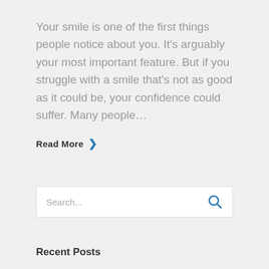Your smile is one of the first things people notice about you. It's arguably your most important feature. But if you struggle with a smile that's not as good as it could be, your confidence could suffer. Many people…
Read More ›
[Figure (other): Search input box with placeholder text 'Search...' and a blue search icon button]
Recent Posts